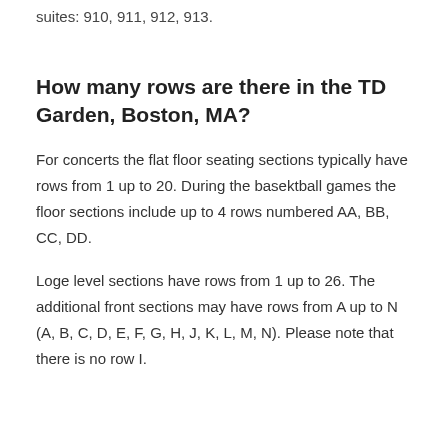suites: 910, 911, 912, 913.
How many rows are there in the TD Garden, Boston, MA?
For concerts the flat floor seating sections typically have rows from 1 up to 20. During the basektball games the floor sections include up to 4 rows numbered AA, BB, CC, DD.
Loge level sections have rows from 1 up to 26. The additional front sections may have rows from A up to N (A, B, C, D, E, F, G, H, J, K, L, M, N). Please note that there is no row I.